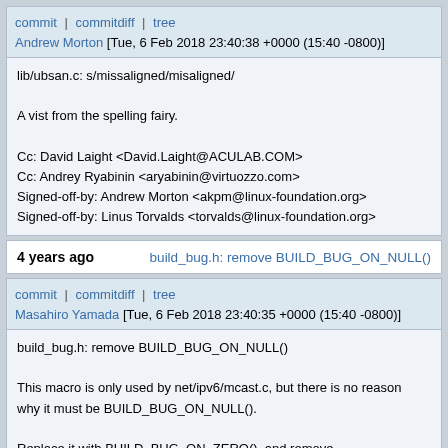commit | commitdiff | tree
Andrew Morton [Tue, 6 Feb 2018 23:40:38 +0000 (15:40 -0800)]
lib/ubsan.c: s/missaligned/misaligned/

A vist from the spelling fairy.

Cc: David Laight <David.Laight@ACULAB.COM>
Cc: Andrey Ryabinin <aryabinin@virtuozzo.com>
Signed-off-by: Andrew Morton <akpm@linux-foundation.org>
Signed-off-by: Linus Torvalds <torvalds@linux-foundation.org>
4 years ago    build_bug.h: remove BUILD_BUG_ON_NULL()
commit | commitdiff | tree
Masahiro Yamada [Tue, 6 Feb 2018 23:40:35 +0000 (15:40 -0800)]
build_bug.h: remove BUILD_BUG_ON_NULL()

This macro is only used by net/ipv6/mcast.c, but there is no reason
why it must be BUILD_BUG_ON_NULL().

Replace it with BUILD_BUG_ON_ZERO(), and remove BUILD_BUG_ON_N...